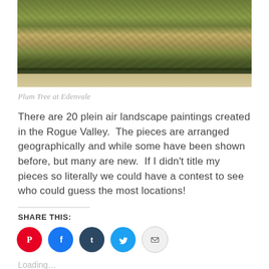[Figure (illustration): Plein air landscape painting showing trees and foliage in greens and browns with a sandy foreground — 'Plum Tree at Edenvale']
Plum Tree at Edenvale
There are 20 plein air landscape paintings created in the Rogue Valley.  The pieces are arranged geographically and while some have been shown before, but many are new.  If I didn't title my pieces so literally we could have a contest to see who could guess the most locations!
SHARE THIS:
[Figure (other): Social sharing buttons: Pinterest (red), Facebook (blue), Tumblr (dark blue), Twitter (light blue), Email (grey)]
Loading…